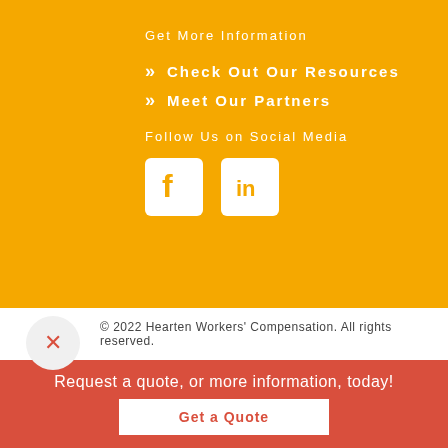Get More Information
Check Out Our Resources
Meet Our Partners
Follow Us on Social Media
[Figure (illustration): Facebook and LinkedIn social media icons in white boxes on orange background]
© 2022 Hearten Workers' Compensation. All rights reserved.
Request a quote, or more information, today!
Get a Quote